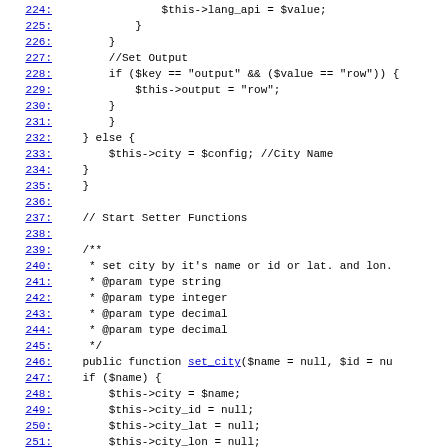Source code viewer showing PHP class lines 224-253 with line numbers linked, displaying constructor config parsing and set_city function definition.